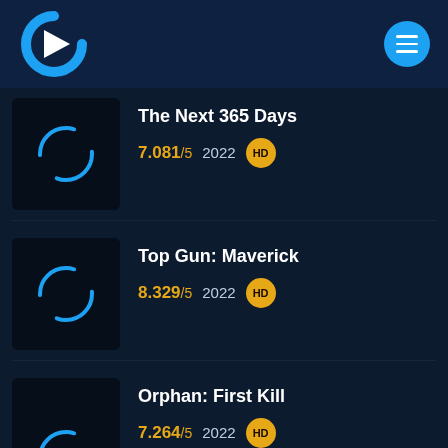[Figure (logo): Streaming app logo: blue C-shape with white play triangle, and blue circular hamburger menu button]
The Next 365 Days
7.081/5  2022  HD
Top Gun: Maverick
8.329/5  2022  HD
Orphan: First Kill
7.264/5  2022  HD